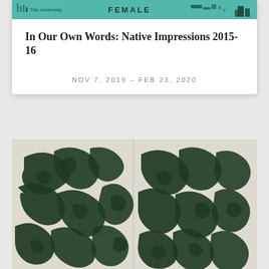[Figure (photo): Top banner image with teal/green background showing census-style data with text 'This community', 'FEMALE' in large letters, and bar graphics with numbers]
In Our Own Words: Native Impressions 2015-16
NOV 7, 2019 – FEB 23, 2020
[Figure (photo): Artwork showing dark green calligraphic or script-like brush strokes on a white/cream background, appearing as two panels side by side with flowing abstract letterforms]